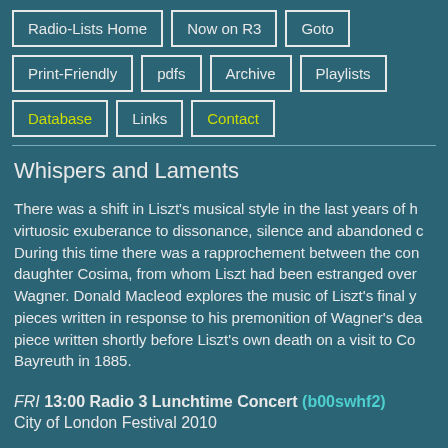Radio-Lists Home
Now on R3
Goto
Print-Friendly
pdfs
Archive
Playlists
Database
Links
Contact
Whispers and Laments
There was a shift in Liszt's musical style in the last years of his life, from virtuosic exuberance to dissonance, silence and abandoned convention. During this time there was a rapprochement between the composer and his daughter Cosima, from whom Liszt had been estranged over her marriage to Wagner. Donald Macleod explores the music of Liszt's final years, including pieces written in response to his premonition of Wagner's death, and a piece written shortly before Liszt's own death on a visit to Cosima in Bayreuth in 1885.
FRI 13:00 Radio 3 Lunchtime Concert (b00swhf2)
City of London Festival 2010